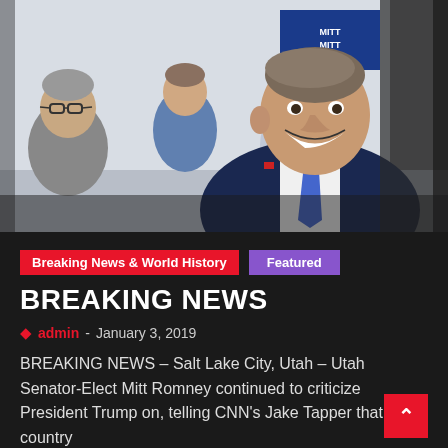[Figure (photo): Photo of Mitt Romney smiling in a navy suit with blue tie and American flag pin, with supporters in background]
Breaking News & World History
Featured
BREAKING NEWS
admin - January 3, 2019
BREAKING NEWS – Salt Lake City, Utah – Utah Senator-Elect Mitt Romney continued to criticize President Trump on, telling CNN's Jake Tapper that the country